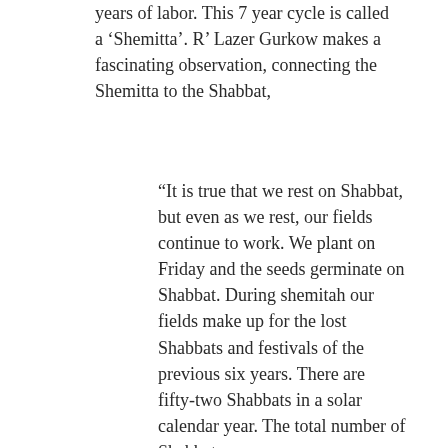years of labor. This 7 year cycle is called a ‘Shemitta’. R’ Lazer Gurkow makes a fascinating observation, connecting the Shemitta to the Shabbat,
“It is true that we rest on Shabbat, but even as we rest, our fields continue to work. We plant on Friday and the seeds germinate on Shabbat. During shemitah our fields make up for the lost Shabbats and festivals of the previous six years. There are fifty-two Shabbats in a solar calendar year. The total number of Shabbats